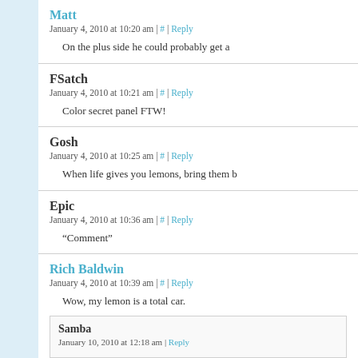Matt
January 4, 2010 at 10:20 am | # | Reply
On the plus side he could probably get a
FSatch
January 4, 2010 at 10:21 am | # | Reply
Color secret panel FTW!
Gosh
January 4, 2010 at 10:25 am | # | Reply
When life gives you lemons, bring them b
Epic
January 4, 2010 at 10:36 am | # | Reply
“Comment”
Rich Baldwin
January 4, 2010 at 10:39 am | # | Reply
Wow, my lemon is a total car.
Samba
January 10, 2010 at 12:18 am | Reply